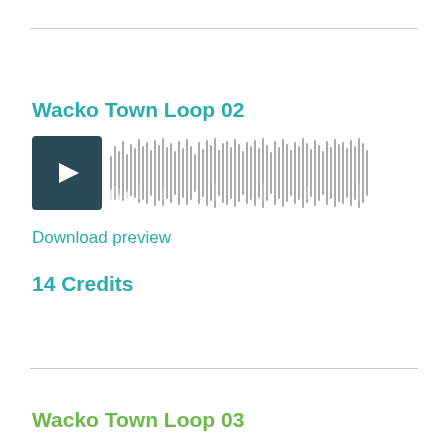Wacko Town Loop 02
[Figure (other): Audio player with play button and waveform visualization for Wacko Town Loop 02]
Download preview
14 Credits
License & Download
Wacko Town Loop 03